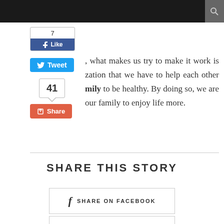[Figure (screenshot): Dark navigation header bar with search icon on the right]
[Figure (screenshot): Facebook Like widget showing count of 7 and blue Like button]
[Figure (screenshot): Blue Twitter Tweet button]
, what makes us try to make it work is zation that we have to help each other mily to be healthy. By doing so, we are our family to enjoy life more.
[Figure (screenshot): Pinterest share count bubble showing 41]
[Figure (screenshot): Red Share button]
SHARE THIS STORY
[Figure (screenshot): Share on Facebook button with Facebook f icon]
[Figure (screenshot): Partial bottom share button]